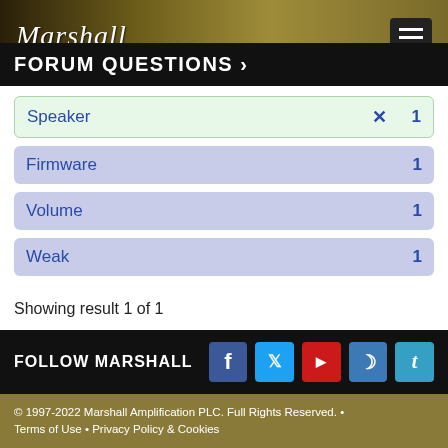Marshall — Forum Questions
FORUM QUESTIONS >
Speaker  ✕  1
Firmware  1
Volume  1
Weak  1
Showing result 1 of 1
FOLLOW MARSHALL  f  t  YouTube  Instagram  Tumblr
© 1997-2022 Marshall Amplification PLC. Full Rights Reserved. • Terms of Use • Privacy Policy & Cookies